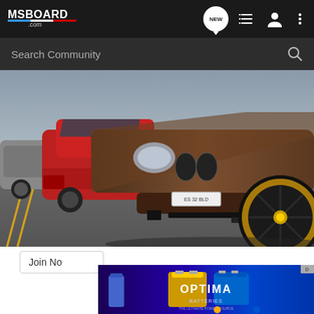MSBOARD .com — navigation bar with NEW, list, user, and menu icons
Search Community
[Figure (photo): BMW E90/E92 lowered car in brown/bronze with wide-body kit and gold-lip wheels in the foreground, red BMW E30/E36 convertible in mid-ground, grey BMW in background, parked in a lot at a car meet. Overcast sky.]
Join No
[Figure (photo): OPTIMA Batteries advertisement banner with blue/purple background and battery product imagery]